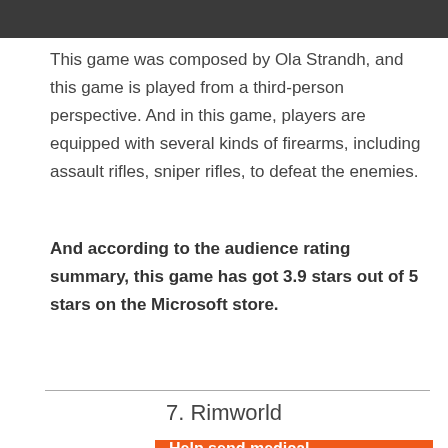[Figure (photo): Top portion of a game screenshot, showing dark scene]
This game was composed by Ola Strandh, and this game is played from a third-person perspective. And in this game, players are equipped with several kinds of firearms, including assault rifles, sniper rifles, to defeat the enemies.
And according to the audience rating summary, this game has got 3.9 stars out of 5 stars on the Microsoft store.
7. Rimworld
[Figure (other): Orange advertisement banner: Help send medical aid to Ukraine >> DirectRelief logo]